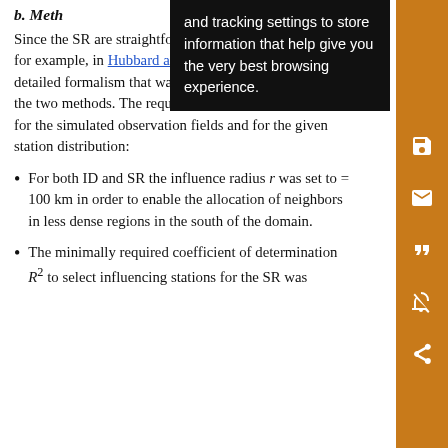b. Meth...
Since the ... SR are straightforward ... the comparison ... can be found, for example, in Hubbard and Tou (2005), who provide a detailed formalism that was followed by implementing the two methods. The required settings were optimized for the simulated observation fields and for the given station distribution:
For both ID and SR the influence radius r was set to a = 100 km in order to enable the allocation of neighbors in less dense regions in the south of the domain.
The minimally required coefficient of determination R² to select influencing stations for the SR was